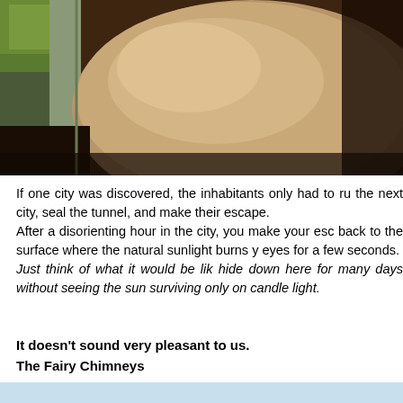[Figure (photo): Close-up photo of a large stone boulder inside a narrow underground tunnel or cave passage, with green vegetation visible in the upper left corner and stone walls on the sides.]
If one city was discovered, the inhabitants only had to ru the next city, seal the tunnel, and make their escape. After a disorienting hour in the city, you make your esc back to the surface where the natural sunlight burns y eyes for a few seconds.  Just think of what it would be lik hide down here for many days without seeing the sun surviving only on candle light.
It doesn't sound very pleasant to us.
The Fairy Chimneys